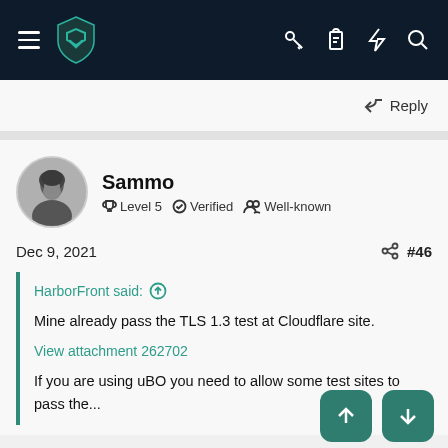[Figure (screenshot): Top navigation bar with hamburger menu, teal shield logo, and icons (key, clipboard, lightning, search) on dark navy background]
Reply
[Figure (photo): Avatar of user Sammo — black and white portrait photo in circular crop]
Sammo
Level 5   Verified   Well-known
Dec 9, 2021
#46
HarborFront said: ↑

Mine already pass the TLS 1.3 test at Cloudflare site.

View attachment 262702

If you are using uBO you need to allow some test sites to pass the...